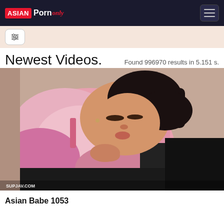Asian Porn Only
Newest Videos.
Found 996970 results in 5.151 s.
[Figure (photo): Screenshot of a video thumbnail from Asian Porn Only website showing a woman in a pink latex jacket. Watermark reads SUPJAV.COM.]
Asian Babe 1053